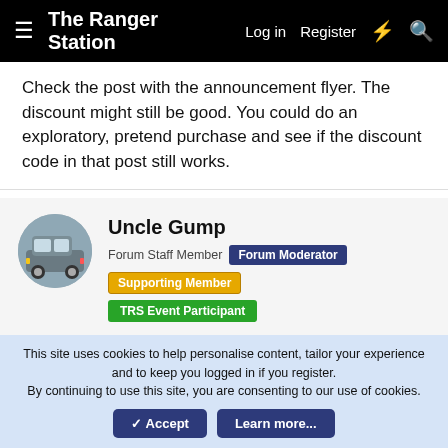The Ranger Station  Log in  Register
Check the post with the announcement flyer. The discount might still be good. You could do an exploratory, pretend purchase and see if the discount code in that post still works.
Uncle Gump
Forum Staff Member  Forum Moderator  Supporting Member  TRS Event Participant
Jan 21, 2022  #23
sgtsandman said: Check the post with the announcement flyer. The discount might still be good. You could do an exploratory, pretend purchase and see if the discount code in that post still works.
This site uses cookies to help personalise content, tailor your experience and to keep you logged in if you register.
By continuing to use this site, you are consenting to our use of cookies.